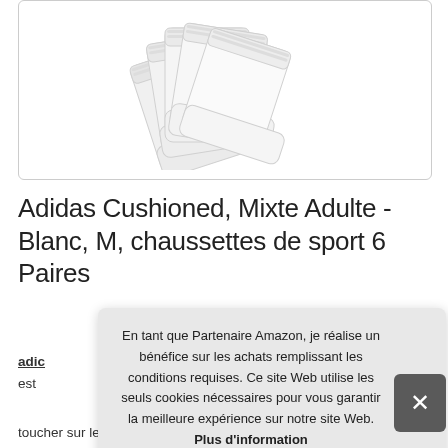[Figure (photo): Product photo of multiple white Adidas cushioned sports socks fanned out, showing several pairs stacked together on a white background with a light border.]
Adidas Cushioned, Mixte Adulte - Blanc, M, chaussettes de sport 6 Paires
adidas [brand link] ...
est ...
toucher sur les doigts. Amortissement ciblé. Les 3 bandes et
En tant que Partenaire Amazon, je réalise un bénéfice sur les achats remplissant les conditions requises. Ce site Web utilise les seuls cookies nécessaires pour vous garantir la meilleure expérience sur notre site Web. Plus d'information